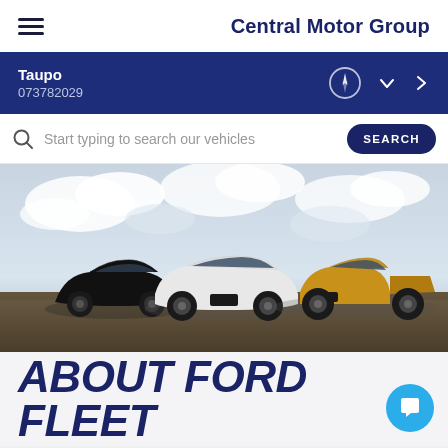Central Motor Group
Taupo
073782029
Start typing to search our vehicles
[Figure (photo): Three Ford vehicles parked side by side against a dramatic cloudy sky: a black hatchback (Puma) on the left, a white SUV (Everest) in the center, and a gold/bronze pickup truck (Ranger) on the right.]
ABOUT FORD FLEET